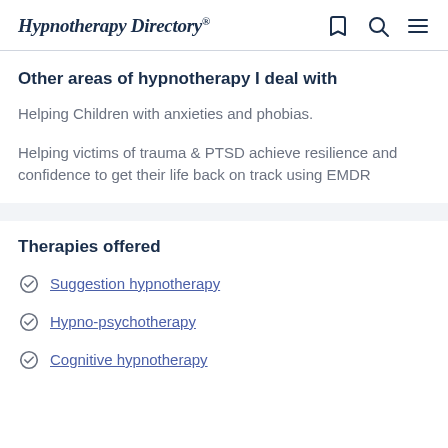Hypnotherapy Directory
Other areas of hypnotherapy I deal with
Helping Children with anxieties and phobias.
Helping victims of trauma & PTSD achieve resilience and confidence to get their life back on track using EMDR
Therapies offered
Suggestion hypnotherapy
Hypno-psychotherapy
Cognitive hypnotherapy